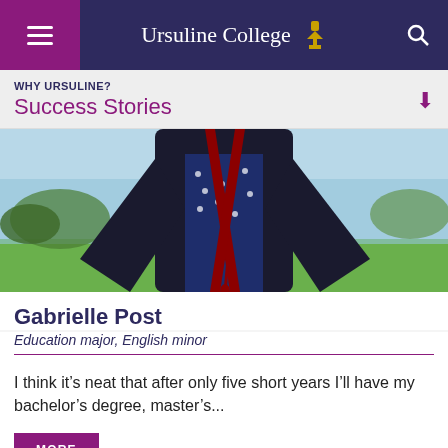Ursuline College
WHY URSULINE? Success Stories
[Figure (photo): Person in graduation gown and regalia standing outdoors on grass near water]
Gabrielle Post
Education major, English minor
I think it’s neat that after only five short years I’ll have my bachelor’s degree, master’s...
MORE